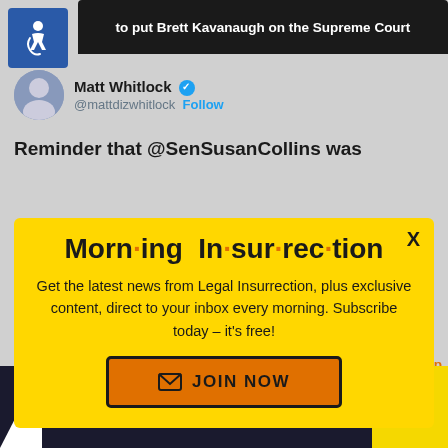[Figure (screenshot): Top portion of a tweet page showing dark header bar with text 'to put Brett Kavanaugh on the Supreme Court', accessibility icon (blue wheelchair symbol), profile picture, Matt Whitlock verified account (@mattdizwhitlock) with Follow button, and partial tweet text beginning 'Reminder that @SenSusanCollins was']
[Figure (screenshot): Modal popup on yellow background with title 'Morning Insurrection' (with orange dots as bullet points between syllables), body text 'Get the latest news from Legal Insurrection, plus exclusive content, direct to your inbox every morning. Subscribe today – it's free!', and an orange 'JOIN NOW' button with envelope icon. An X close button is in the top right corner.]
[Figure (screenshot): Bottom of tweet page showing timestamp '1:08 PM · Jun 24, 2019', heart icon, small X close button, 'Back to top' link, 'Read 261 replies' link, and a dark advertisement banner for 'The Perspective' with text 'SEE WHAT YOU'RE MISSING' and a yellow 'READ MORE' box on the right.]